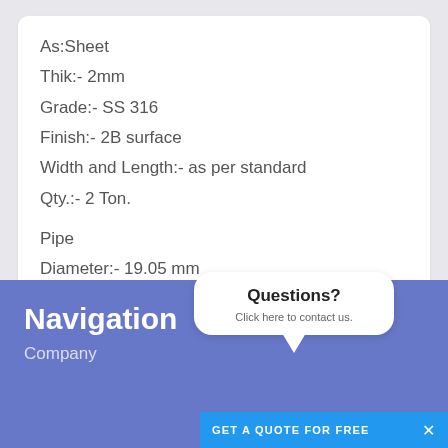As:Sheet
Thik:- 2mm
Grade:- SS 316
Finish:- 2B surface
Width and Length:- as per standard
Qty.:- 2 Ton.

Pipe
Diameter:- 19.05 mm
Thickness: 0.10 to 0.20
Submit
Navigation
Company
Questions?
Click here to contact us.
GET A QUOTE FOR FREE  ×